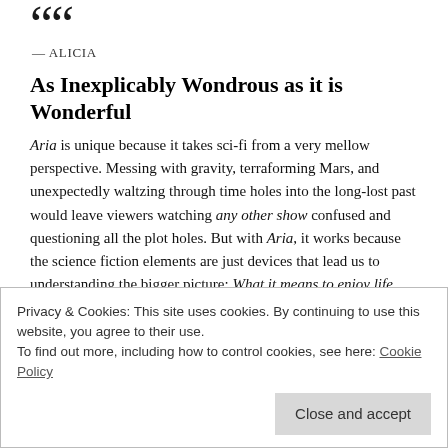““
— ALICIA
As Inexplicably Wondrous as it is Wonderful
Aria is unique because it takes sci-fi from a very mellow perspective. Messing with gravity, terraforming Mars, and unexpectedly waltzing through time holes into the long-lost past would leave viewers watching any other show confused and questioning all the plot holes. But with Aria, it works because the science fiction elements are just devices that lead us to understanding the bigger picture: What it means to enjoy life and all that it has to offer. The same applies to the element of drama in Aria—situations never get too intense or bitterly poignant because, as Aika would always remark, “NO SAPPY LINES ALLOWED!”
Privacy & Cookies: This site uses cookies. By continuing to use this website, you agree to their use.
To find out more, including how to control cookies, see here: Cookie Policy